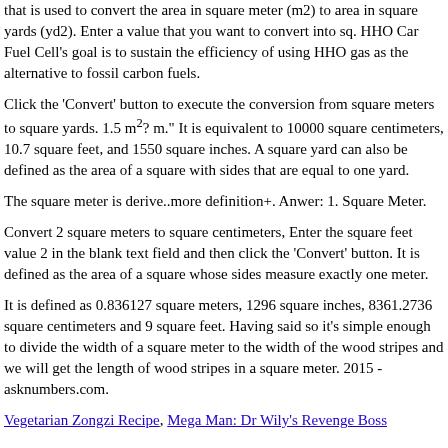that is used to convert the area in square meter (m2) to area in square yards (yd2). Enter a value that you want to convert into sq. HHO Car Fuel Cell's goal is to sustain the efficiency of using HHO gas as the alternative to fossil carbon fuels.
Click the 'Convert' button to execute the conversion from square meters to square yards. 1.5 m²? m." It is equivalent to 10000 square centimeters, 10.7 square feet, and 1550 square inches. A square yard can also be defined as the area of a square with sides that are equal to one yard.
The square meter is derive..more definition+. Anwer: 1. Square Meter.
Convert 2 square meters to square centimeters, Enter the square feet value 2 in the blank text field and then click the 'Convert' button. It is defined as the area of a square whose sides measure exactly one meter.
It is defined as 0.836127 square meters, 1296 square inches, 8361.2736 square centimeters and 9 square feet. Having said so it's simple enough to divide the width of a square meter to the width of the wood stripes and we will get the length of wood stripes in a square meter. 2015 - asknumbers.com.
Vegetarian Zongzi Recipe, Mega Man: Dr Wily's Revenge Boss